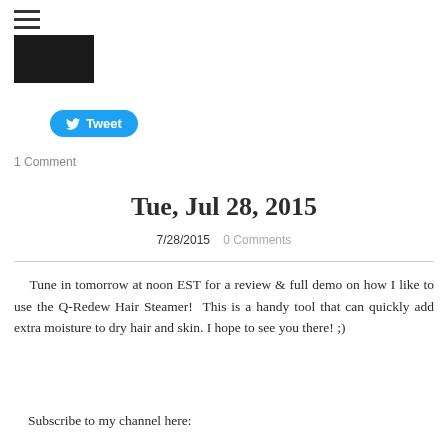[Figure (other): Hamburger menu icon (three horizontal lines)]
[Figure (photo): Dark/black thumbnail image]
[Figure (other): Twitter Tweet button with bird icon]
1 Comment
Tue, Jul 28, 2015
7/28/2015   0 Comments
Tune in tomorrow at noon EST for a review & full demo on how I like to use the Q-Redew Hair Steamer!  This is a handy tool that can quickly add extra moisture to dry hair and skin. I hope to see you there! ;)
Subscribe to my channel here: